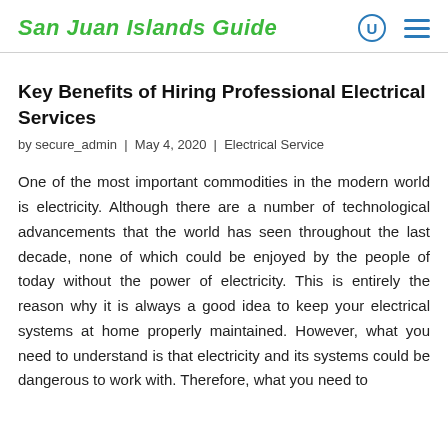San Juan Islands Guide
Key Benefits of Hiring Professional Electrical Services
by secure_admin | May 4, 2020 | Electrical Service
One of the most important commodities in the modern world is electricity. Although there are a number of technological advancements that the world has seen throughout the last decade, none of which could be enjoyed by the people of today without the power of electricity. This is entirely the reason why it is always a good idea to keep your electrical systems at home properly maintained. However, what you need to understand is that electricity and its systems could be dangerous to work with. Therefore, what you need to